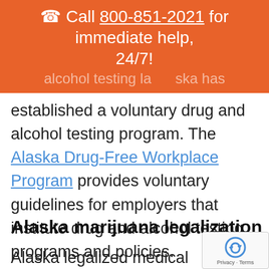Call 800-851-2021 for immediate help, 24/7!
established a voluntary drug and alcohol testing program. The Alaska Drug-Free Workplace Program provides voluntary guidelines for employers that institute drug and alcohol testing programs and policies.
Alaska marijuana legalization
Alaska legalized medical marijuana